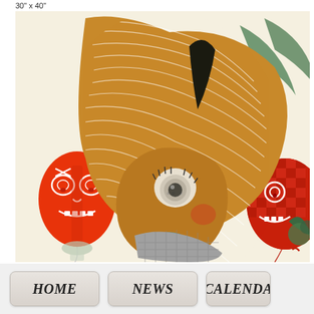30" x 40"
[Figure (illustration): A whimsical surrealist illustration on a cream/beige background. A central figure has a large face resembling a rhino or deer with golden-amber striped/lined hair flowing dramatically. Two red balloon-like faces with skull and cartoon expressions flank the central figure on either side. The central figure has one large eye with a speckled iris, dark lips with a blue tint, and a gray cross-hatched body/chest area. Green leaf-like shapes appear in the upper right. The style is graphic and illustrative.]
HOME   NEWS   CALENDA...